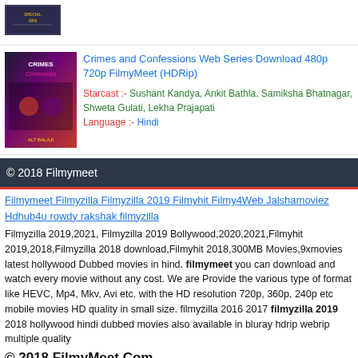[Figure (photo): Special Ops thumbnail image at top]
[Figure (photo): Crimes and Confessions web series poster thumbnail]
Crimes and Confessions Web Series Download 480p 720p FilmyMeet (HDRip)
Starcast :- Sushant Kandya, Ankit Bathla, Samiksha Bhatnagar, Shweta Gulati, Lekha Prajapati
Language :- Hindi
© 2018 Filmymeet
Filmymeet Filmyzilla Filmyzilla 2019 Filmyhit Filmy4Web Jalshamoviez Hdhub4u rowdy rakshak filmyzilla
Filmyzilla 2019,2021, Filmyzilla 2019 Bollywood,2020,2021,Filmyhit 2019,2018,Filmyzilla 2018 download,Filmyhit 2018,300MB Movies,9xmovies latest hollywood Dubbed movies in hind. filmymeet you can download and watch every movie without any cost. We are Provide the various type of format like HEVC, Mp4, Mkv, Avi etc. with the HD resolution 720p, 360p, 240p etc mobile movies HD quality in small size. filmyzilla 2016 2017 filmyzilla 2019 2018 hollywood hindi dubbed movies also available in bluray hdrip webrip multiple quality
© 2018 FilmyMeet.Com